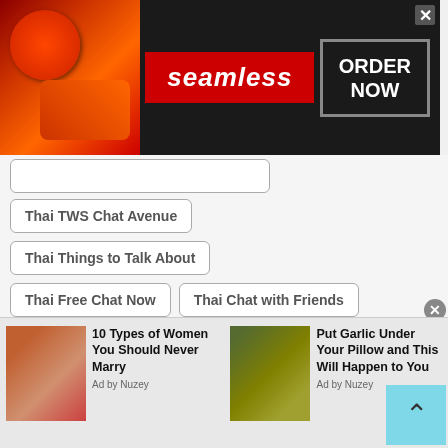[Figure (screenshot): Seamless food delivery banner advertisement with pizza image, 'seamless' red logo text, and 'ORDER NOW' button with close X]
Thai TWS Chat Avenue
Thai Things to Talk About
Thai Free Chat Now
Thai Chat with Friends
Thai Talk to Me
Thai Start Chatting
Thai Talk to Strangers Online
Thai Chat USA
Thai Free Phone Chat
Thai Make Friends
Thai Chat Gratis
Thai Chat Line
[Figure (photo): Bottom ad strip: left ad shows red-haired woman face photo with headline '10 Types of Women You Should Never Marry' Ad by Nuzey; right ad shows garlic photo with headline 'Put Garlic Under Your Pillow and This Will Happen to You' Ad by Nuzey]